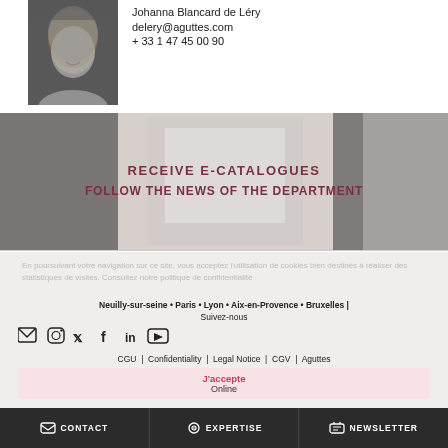[Figure (photo): Black and white portrait photo of a woman with long blond hair, smiling]
Johanna Blancard de Léry
delery@aguttes.com
+ 33 1 47 45 00 90
[Figure (infographic): Banner with background photos showing e-catalogue on phone, with overlay text: RECEIVE E-CATALOGUES / FOLLOW THE NEWS OF THE DEPARTMENT]
Neuilly-sur-seine • Paris • Lyon • Aix-en-Provence • Bruxelles | Suivez-nous
CGU | Confidentiality | Legal Notice | CGV | Aguttes
J'accepte
Online
CONTACT   EXPERTISE   NEWSLETTER